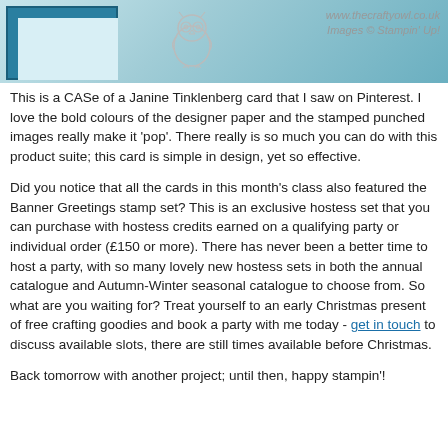[Figure (photo): Photo of a crafting card with teal/blue border and decorative embossed design, with www.thecraftyowl.co.uk watermark and 'Images © Stampin' Up!' text]
This is a CASe of a Janine Tinklenberg card that I saw on Pinterest. I love the bold colours of the designer paper and the stamped punched images really make it 'pop'. There really is so much you can do with this product suite; this card is simple in design, yet so effective.
Did you notice that all the cards in this month's class also featured the Banner Greetings stamp set? This is an exclusive hostess set that you can purchase with hostess credits earned on a qualifying party or individual order (£150 or more). There has never been a better time to host a party, with so many lovely new hostess sets in both the annual catalogue and Autumn-Winter seasonal catalogue to choose from. So what are you waiting for? Treat yourself to an early Christmas present of free crafting goodies and book a party with me today - get in touch to discuss available slots, there are still times available before Christmas.
Back tomorrow with another project; until then, happy stampin'!